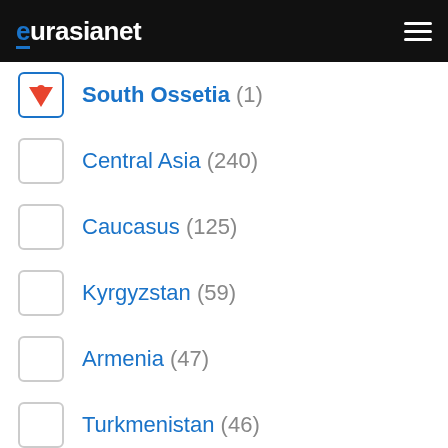eurasianet
South Ossetia (1)
Central Asia (240)
Caucasus (125)
Kyrgyzstan (59)
Armenia (47)
Turkmenistan (46)
Tajikistan (44)
SHOW MORE
Topics